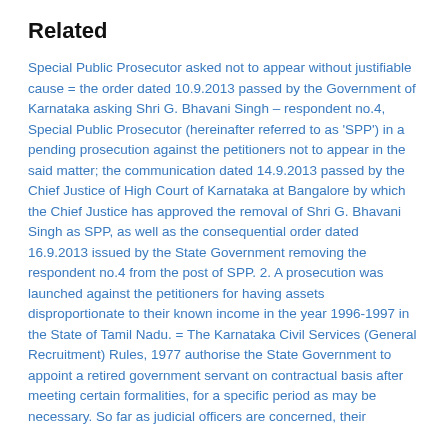Related
Special Public Prosecutor asked not to appear without justifiable cause = the order dated 10.9.2013 passed by the Government of Karnataka asking Shri G. Bhavani Singh – respondent no.4, Special Public Prosecutor (hereinafter referred to as 'SPP') in a pending prosecution against the petitioners not to appear in the said matter; the communication dated 14.9.2013 passed by the Chief Justice of High Court of Karnataka at Bangalore by which the Chief Justice has approved the removal of Shri G. Bhavani Singh as SPP, as well as the consequential order dated 16.9.2013 issued by the State Government removing the respondent no.4 from the post of SPP. 2. A prosecution was launched against the petitioners for having assets disproportionate to their known income in the year 1996-1997 in the State of Tamil Nadu. = The Karnataka Civil Services (General Recruitment) Rules, 1977 authorise the State Government to appoint a retired government servant on contractual basis after meeting certain formalities, for a specific period as may be necessary. So far as judicial officers are concerned, their